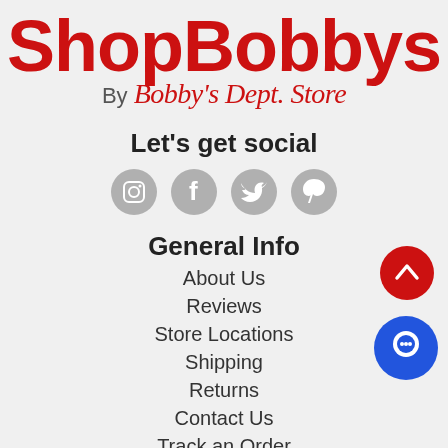[Figure (logo): ShopBobbys logo - large red text 'ShopBobbys' with 'By Bobby's Dept. Store' in script below]
Let's get social
[Figure (other): Four social media icons: Instagram, Facebook, Twitter, Pinterest - all in gray circular buttons]
General Info
About Us
Reviews
Store Locations
Shipping
Returns
Contact Us
Track an Order
Frequently Asked Questions